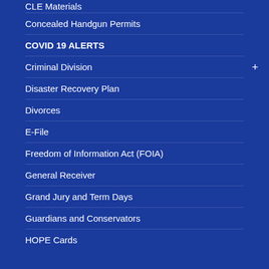CLE Materials
Concealed Handgun Permits
COVID 19 ALERTS
Criminal Division
Disaster Recovery Plan
Divorces
E-File
Freedom of Information Act (FOIA)
General Receiver
Grand Jury and Term Days
Guardians and Conservators
HOPE Cards